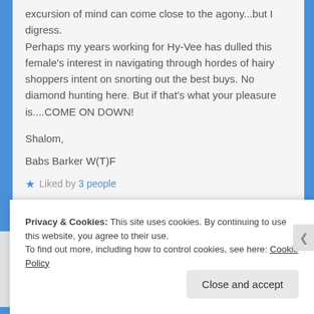excursion of mind can come close to the agony...but I digress.
Perhaps my years working for Hy-Vee has dulled this female's interest in navigating through hordes of hairy shoppers intent on snorting out the best buys. No diamond hunting here. But if that's what your pleasure is....COME ON DOWN!
Shalom,

Babs Barker W(T)F
★ Liked by 3 people
Privacy & Cookies: This site uses cookies. By continuing to use this website, you agree to their use.
To find out more, including how to control cookies, see here: Cookie Policy
Close and accept